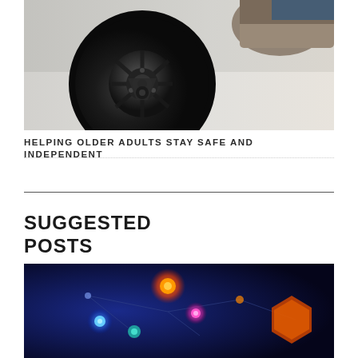[Figure (photo): Close-up photo of a wheelchair wheel mechanism with black spokes and hub, a person's shoe/boot visible in the background on a light surface]
HELPING OLDER ADULTS STAY SAFE AND INDEPENDENT
SUGGESTED POSTS
[Figure (photo): Dark blue/purple image with glowing hexagonal shapes and dots connected by lines, suggesting a technology or network concept]